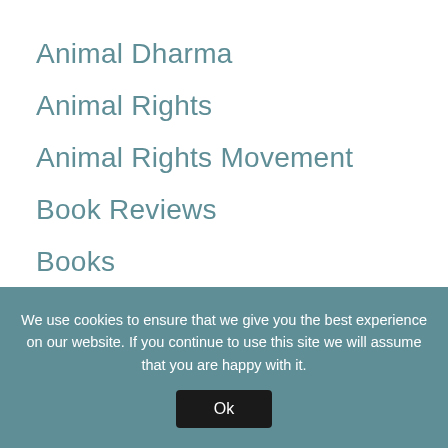Animal Dharma
Animal Rights
Animal Rights Movement
Book Reviews
Books
Compassion
Events
Hastings Old Town
Interviews
Kim Stallwood
Living in the UK
We use cookies to ensure that we give you the best experience on our website. If you continue to use this site we will assume that you are happy with it.
Ok